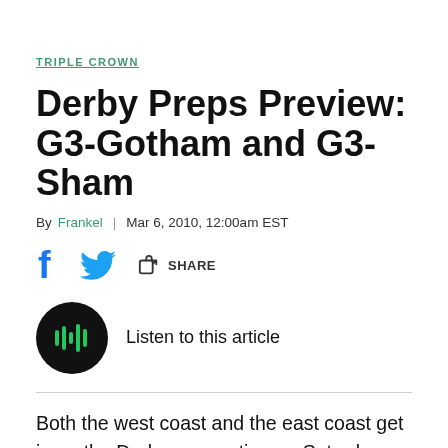TRIPLE CROWN
Derby Preps Preview: G3-Gotham and G3-Sham
By Frankel | Mar 6, 2010, 12:00am EST
[Figure (infographic): Social share icons: Facebook, Twitter, and a share button with label SHARE]
[Figure (infographic): Audio player button (dark circle with green waveform/play icon) with label: Listen to this article]
Both the west coast and the east coast get in on the Derby prep action on Saturday with graded stakes in both California and New York.  Here's a look at the line-ups and the contenders for each race.